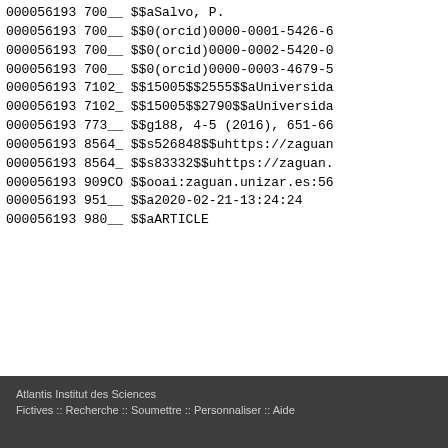000056193 700__ $$aSalvo, P.
000056193 700__ $$0(orcid)0000-0001-5426-6
000056193 700__ $$0(orcid)0000-0002-5420-0
000056193 700__ $$0(orcid)0000-0003-4679-5
000056193 7102_ $$15005$$2555$$aUniversida
000056193 7102_ $$15005$$2790$$aUniversida
000056193 773__ $$g188, 4-5 (2016), 651-66
000056193 8564_ $$s526848$$uhttps://zaguan
000056193 8564_ $$s83332$$uhttps://zaguan.
000056193 909CO $$ooai:zaguan.unizar.es:56
000056193 951__ $$a2020-02-21-13:24:24
000056193 980__ $$aARTICLE
Atlantis Institut des Sciences
Fictives :: Recherche :: Soumettre :: Personnaliser :: Aide